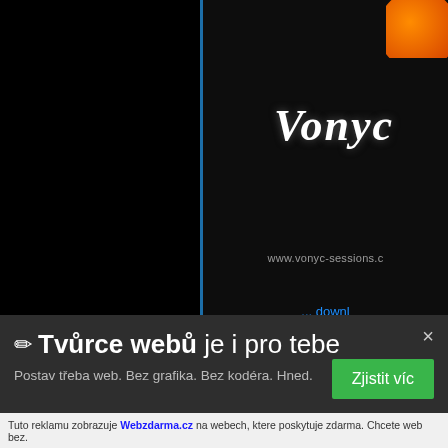[Figure (screenshot): Partial screenshot of a dark-themed music website showing the Vonyc Sessions logo in stylized white script, partial URL 'www.vonyc-sessions.c...', a blue '... downl...' link, and a large blue bold text 'Aly & Fila – Fut' (truncated). The left portion is pure black with a vertical blue divider line. An orange circular button is partially visible in the top-right corner.]
✏ Tvůrce webů je i pro tebe
Postav třeba web. Bez grafika. Bez kodéra. Hned.
Zjistit víc
Tuto reklamu zobrazuje Webzdarma.cz na webech, ktere poskytuje zdarma. Chcete web bez.